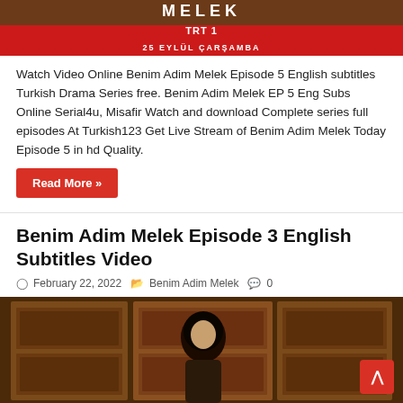[Figure (photo): TV show promotional banner for Benim Adim Melek on TRT1, showing title text 'MELEK', TRT1 logo, and '25 EYLÜL ÇARŞAMBA' date on a red bar]
Watch Video Online Benim Adim Melek Episode 5 English subtitles Turkish Drama Series free. Benim Adim Melek EP 5 Eng Subs Online Serial4u, Misafir Watch and download Complete series full episodes At Turkish123 Get Live Stream of Benim Adim Melek Today Episode 5 in hd Quality.
Read More »
Benim Adim Melek Episode 3 English Subtitles Video
February 22, 2022   Benim Adim Melek   0
[Figure (photo): Photo showing an ornate carved wooden door with a woman with dark hair peeking through, wearing dark clothing]